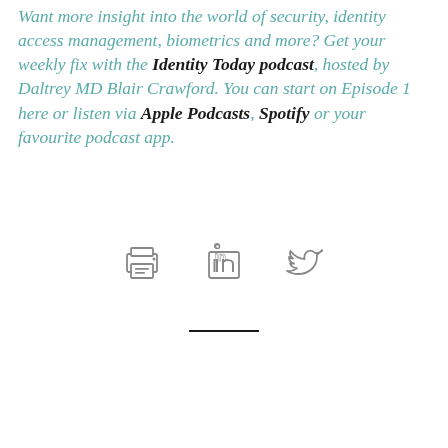Want more insight into the world of security, identity access management, biometrics and more? Get your weekly fix with the Identity Today podcast, hosted by Daltrey MD Blair Crawford. You can start on Episode 1 here or listen via Apple Podcasts, Spotify or your favourite podcast app.
[Figure (other): Three social/share icons: a printer icon, a LinkedIn icon, and a Twitter bird icon, arranged horizontally]